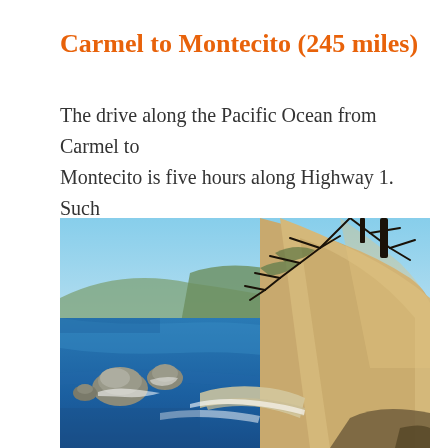Carmel to Montecito (245 miles)
The drive along the Pacific Ocean from Carmel to Montecito is five hours along Highway 1. Such a DRAMATIC and BEAUTIFUL coast!
[Figure (photo): Coastal view of the Pacific Ocean along Highway 1, showing rugged cliffs with sandy/ochre colored hillsides on the right, dark tree branches in the upper right corner, rocky outcroppings in the blue ocean water on the left, and a small cove beach with white surf at center.]